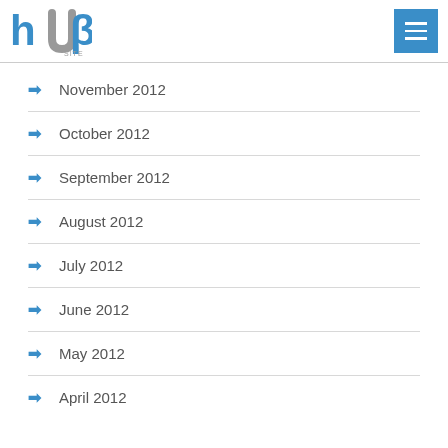[Figure (logo): HUB Site logo in blue with gray accent]
November 2012
October 2012
September 2012
August 2012
July 2012
June 2012
May 2012
April 2012